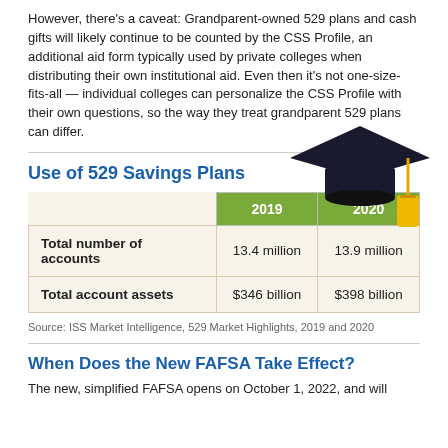However, there's a caveat: Grandparent-owned 529 plans and cash gifts will likely continue to be counted by the CSS Profile, an additional aid form typically used by private colleges when distributing their own institutional aid. Even then it's not one-size-fits-all — individual colleges can personalize the CSS Profile with their own questions, so the way they treat grandparent 529 plans can differ.
Use of 529 Savings Plans
|  | 2019 | 2020 |
| --- | --- | --- |
| Total number of accounts | 13.4 million | 13.9 million |
| Total account assets | $346 billion | $398 billion |
Source: ISS Market Intelligence, 529 Market Highlights, 2019 and 2020
When Does the New FAFSA Take Effect?
The new, simplified FAFSA opens on October 1, 2022, and will